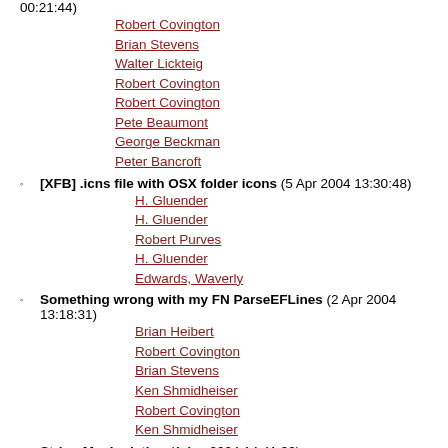00:21:44) Robert Covington, Brian Stevens, Walter Lickteig, Robert Covington, Robert Covington, Pete Beaumont, George Beckman, Peter Bancroft
[XFB] .icns file with OSX folder icons (5 Apr 2004 13:30:48) H. Gluender, H. Gluender, Robert Purves, H. Gluender, Edwards, Waverly
Something wrong with my FN ParseEFLines (2 Apr 2004 13:18:31) Brian Heibert, Robert Covington, Brian Stevens, Ken Shmidheiser, Robert Covington, Ken Shmidheiser
String Manipulation (1 Apr 2004 14:41:39) michael evans, Brian Stevens